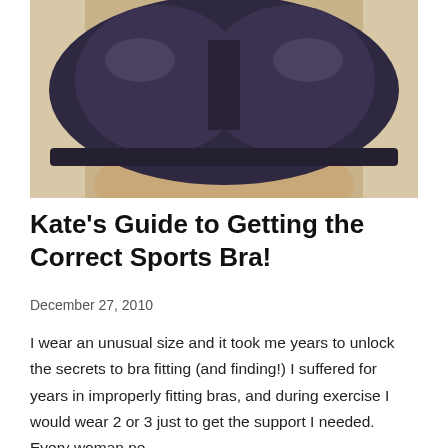[Figure (photo): Close-up photo of a woman wearing a dark gray/navy sports bra with yellow trim at the top center. The image is cropped to show the torso area.]
Kate's Guide to Getting the Correct Sports Bra!
December 27, 2010
I wear an unusual size and it took me years to unlock the secrets to bra fitting (and finding!) I suffered for years in improperly fitting bras, and during exercise I would wear 2 or 3 just to get the support I needed.  Every woman ne...